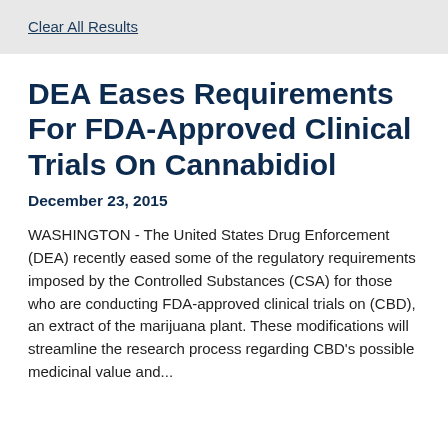Clear All Results
DEA Eases Requirements For FDA-Approved Clinical Trials On Cannabidiol
December 23, 2015
WASHINGTON - The United States Drug Enforcement (DEA) recently eased some of the regulatory requirements imposed by the Controlled Substances (CSA) for those who are conducting FDA-approved clinical trials on (CBD), an extract of the marijuana plant. These modifications will streamline the research process regarding CBD's possible medicinal value and...